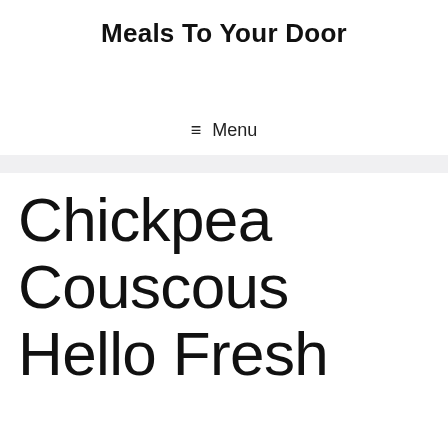Meals To Your Door
≡ Menu
Chickpea Couscous Hello Fresh